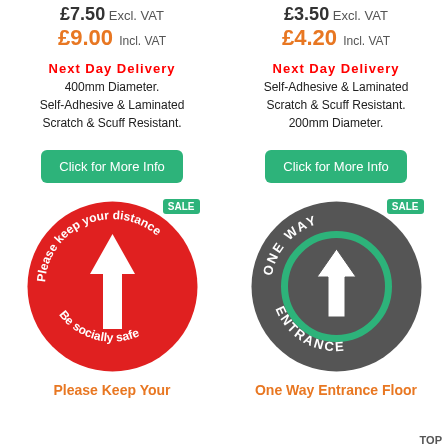£7.50 Excl. VAT
£9.00 Incl. VAT
£3.50 Excl. VAT
£4.20 Incl. VAT
Next Day Delivery
400mm Diameter. Self-Adhesive & Laminated Scratch & Scuff Resistant.
Next Day Delivery
Self-Adhesive & Laminated Scratch & Scuff Resistant. 200mm Diameter.
Click for More Info
Click for More Info
[Figure (illustration): Red circular floor sticker with white arrow pointing up, text 'Please keep your distance' and 'Be socially safe', with green SALE badge]
[Figure (illustration): Dark grey circular floor sticker with green ring and white arrow pointing up, text 'ONE WAY ENTRANCE', with green SALE badge]
Please Keep Your
One Way Entrance Floor
TOP